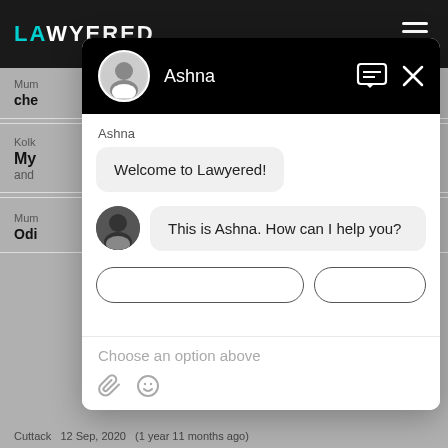LAWYERED
Mum
che
Kolk
My ... g
and
Mum
Odi
[Figure (screenshot): Chat popup widget for Lawyered legal platform. Header shows avatar of Ashna with name 'Ashna' in white on black background with chat and close icons. Chat body shows bot message bubble: 'Welcome to Lawyered!' followed by agent message bubble with avatar: 'This is Ashna. How can I help you?' Below are partially visible option buttons and input area with placeholder 'Choose an option above' and attachment/emoji icons.]
Cuttack  12 Sep, 2020  (1 year 11 months ago)